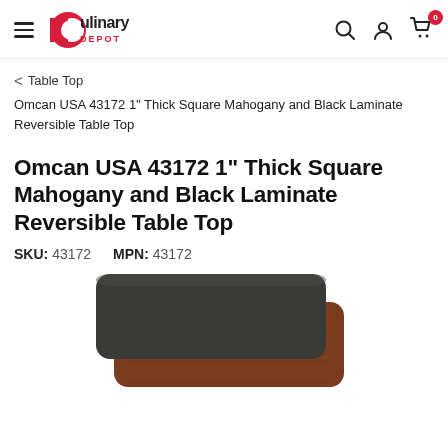Culinary Depot — navigation header
< Table Top
Omcan USA 43172 1" Thick Square Mahogany and Black Laminate Reversible Table Top
Omcan USA 43172 1" Thick Square Mahogany and Black Laminate Reversible Table Top
SKU: 43172   MPN: 43172
[Figure (photo): Two square laminate table tops stacked — one dark charcoal/black (top) and one mahogany/brown (bottom), both with rounded corners, photographed from slightly above on a white background.]